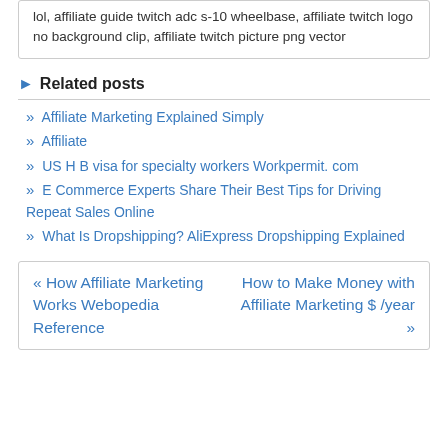lol, affiliate guide twitch adc s-10 wheelbase, affiliate twitch logo no background clip, affiliate twitch picture png vector
Related posts
Affiliate Marketing Explained Simply
Affiliate
US H B visa for specialty workers Workpermit. com
E Commerce Experts Share Their Best Tips for Driving Repeat Sales Online
What Is Dropshipping? AliExpress Dropshipping Explained
« How Affiliate Marketing Works Webopedia Reference | How to Make Money with Affiliate Marketing $ /year »